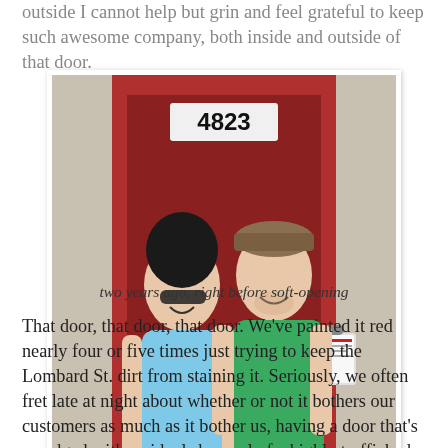outside I cannot help but grin and feel grateful to keep such awesome company, both inside and outside of that door.
[Figure (photo): A man and woman smiling in front of a red door numbered 4823. The woman is wearing a light blue t-shirt and sunglasses; the man is wearing a green t-shirt and a cap, holding papers/a clipboard.]
two years ago, right before soft-opening
That door, that door, that door. We've painted it red nearly four or five times just trying to keep the Lombard St. dirt from staining it. Seriously, we often fret late at night about whether or not it bothers our customers as much as it bother us, having a door that's smudged with residual shrapnel of a highly trafficked street. And yet it seems that good people